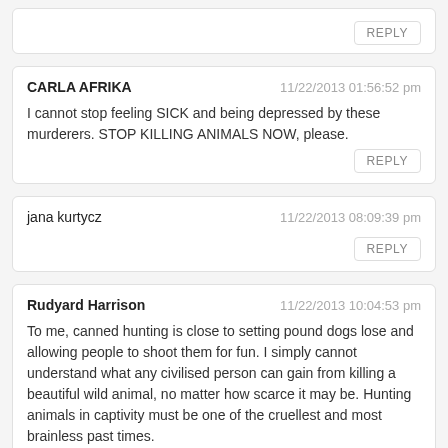[partial comment card with REPLY button at top]
CARLA AFRIKA — 11/22/2013 01:56:52 pm
I cannot stop feeling SICK and being depressed by these murderers. STOP KILLING ANIMALS NOW, please.
jana kurtycz — 11/22/2013 08:09:39 pm
Rudyard Harrison — 11/22/2013 10:04:53 pm
To me, canned hunting is close to setting pound dogs lose and allowing people to shoot them for fun. I simply cannot understand what any civilised person can gain from killing a beautiful wild animal, no matter how scarce it may be. Hunting animals in captivity must be one of the cruellest and most brainless past times.